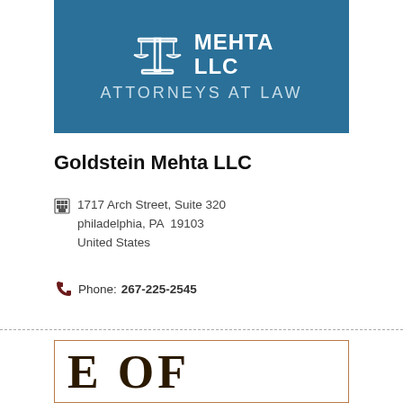[Figure (logo): Goldstein Mehta LLC Attorneys at Law logo on teal/blue background with scales of justice icon]
Goldstein Mehta LLC
1717 Arch Street, Suite 320
philadelphia, PA  19103
United States
Phone: 267-225-2545
[Figure (other): Bottom of page card showing partial text 'E OF']